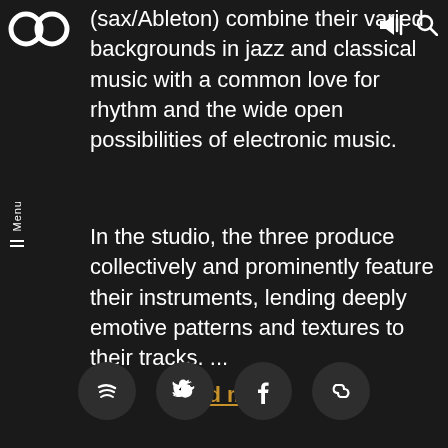Logo and navigation icons (volume, search)
(sax/Ableton) combine their varied backgrounds in jazz and classical music with a common love for rhythm and the wide open possibilities of electronic music.
In the studio, the three produce collectively and prominently feature their instruments, lending deeply emotive patterns and textures to their tracks. ...
Read more
[Figure (infographic): Social media icon buttons: Spotify, Twitter, Facebook, and link icon, each in a dark circular button]